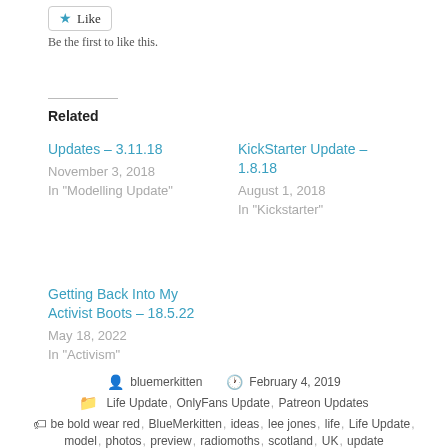[Figure (other): Like button with blue star icon and label 'Like']
Be the first to like this.
Related
Updates – 3.11.18
November 3, 2018
In "Modelling Update"
KickStarter Update – 1.8.18
August 1, 2018
In "Kickstarter"
Getting Back Into My Activist Boots – 18.5.22
May 18, 2022
In "Activism"
bluemerkitten   February 4, 2019   Life Update, OnlyFans Update, Patreon Updates   be bold wear red, BlueMerkitten, ideas, lee jones, life, Life Update, model, photos, preview, radiomoths, scotland, UK, update